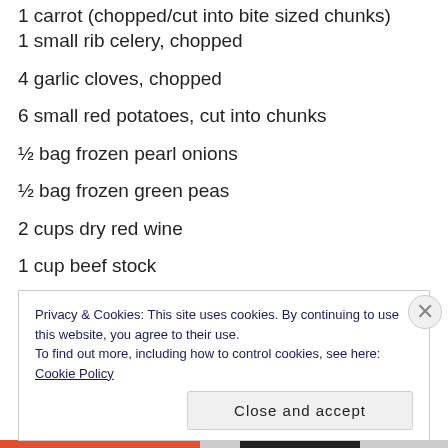1 small rib celery, chopped
4 garlic cloves, chopped
6 small red potatoes, cut into chunks
½ bag frozen pearl onions
½ bag frozen green peas
2 cups dry red wine
1 cup beef stock
kneaded butter: 1 tablespoon butter + 1 tablespoon flour
Privacy & Cookies: This site uses cookies. By continuing to use this website, you agree to their use.
To find out more, including how to control cookies, see here: Cookie Policy
Close and accept